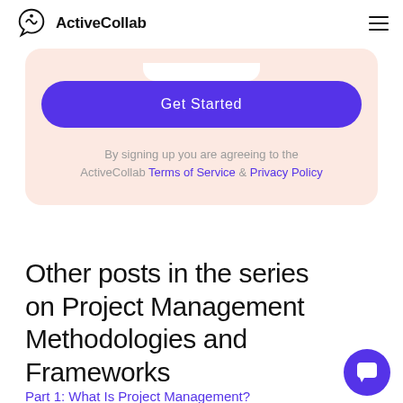ActiveCollab
[Figure (other): Get Started button card with pink/salmon background, purple rounded button labeled 'Get Started', and legal text 'By signing up you are agreeing to the ActiveCollab Terms of Service & Privacy Policy']
Other posts in the series on Project Management Methodologies and Frameworks
Part 1: What Is Project Management?